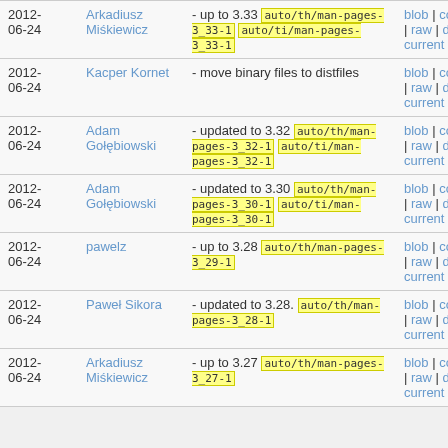| Date | Author | Message | Links |
| --- | --- | --- | --- |
| 2012-06-24 | Arkadiusz Miśkiewicz | - up to 3.33  auto/th/man-pages-3_33-1  auto/ti/man-pages-3_33-1 | blob | commitdiff | raw | diff to current |
| 2012-06-24 | Kacper Kornet | - move binary files to distfiles | blob | commitdiff | raw | diff to current |
| 2012-06-24 | Adam Gołębiowski | - updated to 3.32  auto/th/man-pages-3_32-1  auto/ti/man-pages-3_32-1 | blob | commitdiff | raw | diff to current |
| 2012-06-24 | Adam Gołębiowski | - updated to 3.30  auto/th/man-pages-3_30-1  auto/ti/man-pages-3_30-1 | blob | commitdiff | raw | diff to current |
| 2012-06-24 | pawelz | - up to 3.28  auto/th/man-pages-3_29-1 | blob | commitdiff | raw | diff to current |
| 2012-06-24 | Paweł Sikora | - updated to 3.28.  auto/th/man-pages-3_28-1 | blob | commitdiff | raw | diff to current |
| 2012-06-24 | Arkadiusz Miśkiewicz | - up to 3.27  auto/th/man-pages-3_27-1 | blob | commitdiff | raw | diff to current |